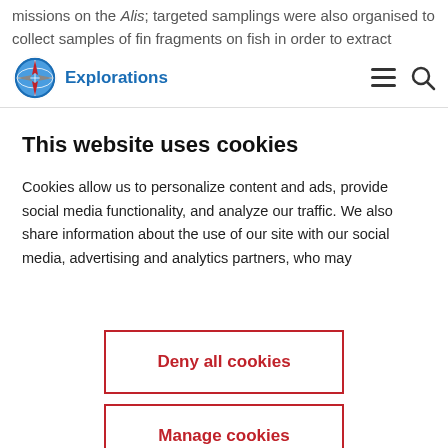missions on the Alis; targeted samplings were also organised to collect samples of fin fragments on fish in order to extract
Explorations (logo with compass)
This website uses cookies
Cookies allow us to personalize content and ads, provide social media functionality, and analyze our traffic. We also share information about the use of our site with our social media, advertising and analytics partners, who may
Deny all cookies
Manage cookies
Ok accept all